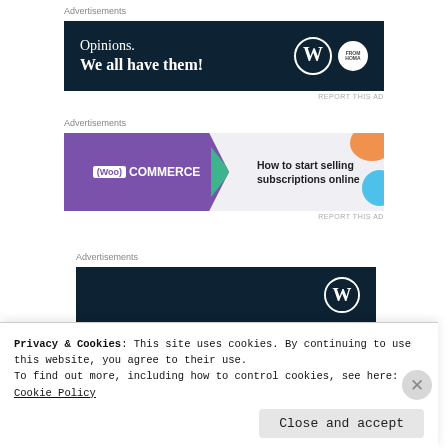Advertisements
[Figure (screenshot): WordPress.com advertisement banner with dark navy background. Text: 'Opinions. We all have them!' with WordPress logo and another circular logo on the right.]
REPORT THIS AD
Advertisements
[Figure (screenshot): WooCommerce advertisement banner with purple left section and light right section. Text on right: 'How to start selling subscriptions online'. Decorative shapes on right side.]
REPORT THIS AD
Advertisements
[Figure (screenshot): Dark navy WordPress.com advertisement banner, partially visible.]
Privacy & Cookies: This site uses cookies. By continuing to use this website, you agree to their use.
To find out more, including how to control cookies, see here: Cookie Policy
Close and accept